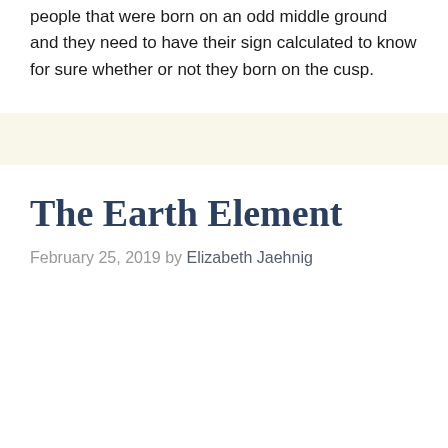people that were born on an odd middle ground and they need to have their sign calculated to know for sure whether or not they born on the cusp.
The Earth Element
February 25, 2019 by Elizabeth Jaehnig